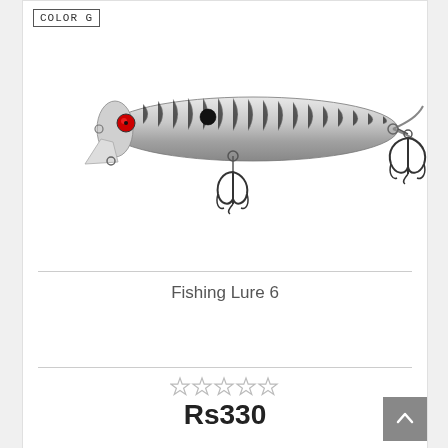[Figure (photo): Silver fishing lure with two treble hooks, red eye, and black dot marking, labeled COLOR G in top left corner]
Fishing Lure 6
[Figure (other): 5 empty star rating icons]
Rs330